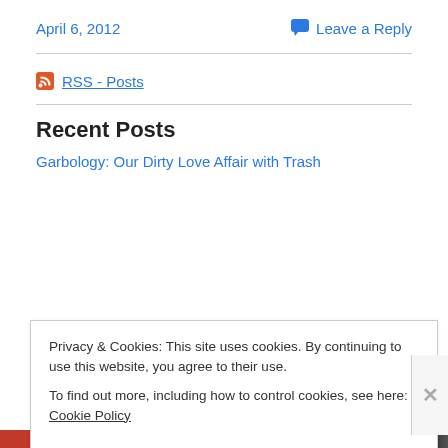April 6, 2012
Leave a Reply
RSS - Posts
Recent Posts
Garbology: Our Dirty Love Affair with Trash
Privacy & Cookies: This site uses cookies. By continuing to use this website, you agree to their use.
To find out more, including how to control cookies, see here: Cookie Policy
Close and accept